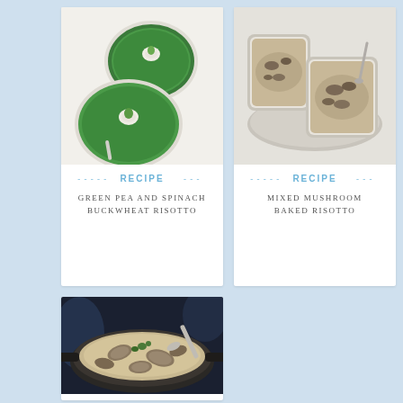[Figure (photo): Two white bowls of green pea and spinach buckwheat risotto on a white surface, viewed from above]
RECIPE
GREEN PEA AND SPINACH BUCKWHEAT RISOTTO
[Figure (photo): Two rectangular white dishes of mixed mushroom baked risotto on a plate, light blue-grey background]
RECIPE
MIXED MUSHROOM BAKED RISOTTO
[Figure (photo): A dark pan filled with clam and mushroom risotto, photographed from above on a dark background]